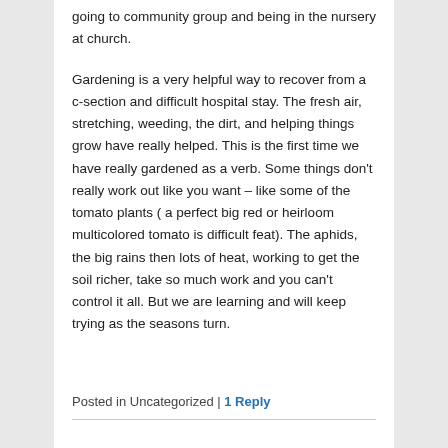going to community group and being in the nursery at church.
Gardening is a very helpful way to recover from a c-section and difficult hospital stay. The fresh air, stretching, weeding, the dirt, and helping things grow have really helped. This is the first time we have really gardened as a verb. Some things don't really work out like you want – like some of the tomato plants ( a perfect big red or heirloom multicolored tomato is difficult feat). The aphids, the big rains then lots of heat, working to get the soil richer, take so much work and you can't control it all. But we are learning and will keep trying as the seasons turn.
Posted in Uncategorized | 1 Reply